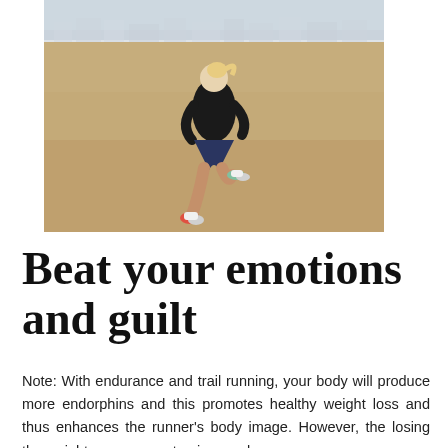[Figure (photo): Woman running on a sandy beach, viewed from behind, wearing black hoodie, dark blue shorts, and colorful running shoes. Sandy beach with structures visible in the background.]
Beat your emotions and guilt
Note: With endurance and trail running, your body will produce more endorphins and this promotes healthy weight loss and thus enhances the runner's body image. However, the losing the weight management gains can be